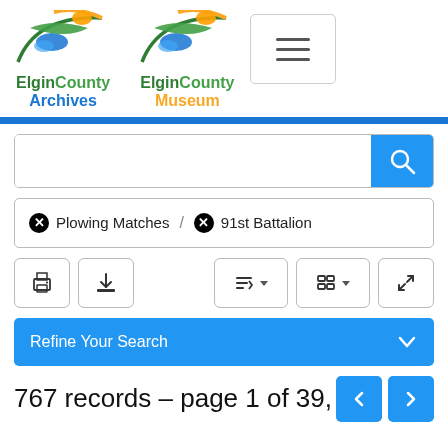[Figure (logo): Elgin County Archives logo with stylized bird/swoosh graphic in green, blue, and orange]
[Figure (logo): Elgin County Museum logo with stylized bird/swoosh graphic in green, blue, and orange]
[Figure (screenshot): Hamburger menu button with three horizontal lines]
Plowing Matches  /  91st Battalion
767 records – page 1 of 39,